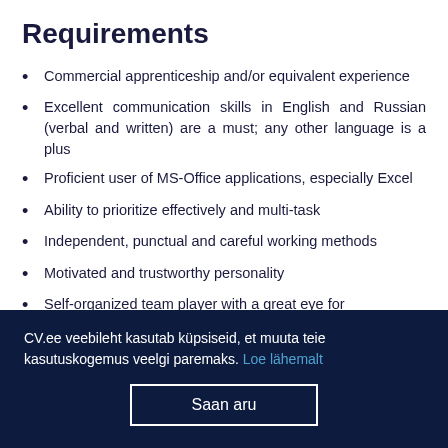Requirements
Commercial apprenticeship and/or equivalent experience
Excellent communication skills in English and Russian (verbal and written) are a must; any other language is a plus
Proficient user of MS-Office applications, especially Excel
Ability to prioritize effectively and multi-task
Independent, punctual and careful working methods
Motivated and trustworthy personality
Self-organized team player with a great eye for
CV.ee veebileht kasutab küpsiseid, et muuta teie kasutuskogemus veelgi paremaks. Loe lähemalt
Saan aru